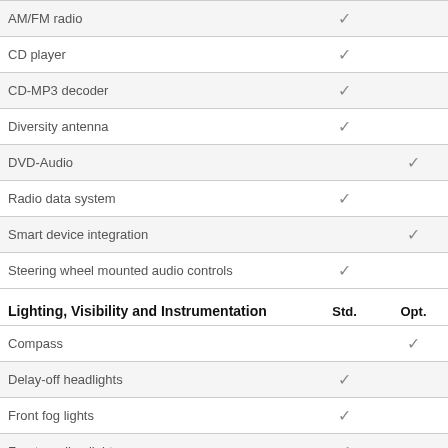| Feature | Std. | Opt. |
| --- | --- | --- |
| AM/FM radio | ✓ |  |
| CD player | ✓ |  |
| CD-MP3 decoder | ✓ |  |
| Diversity antenna | ✓ |  |
| DVD-Audio |  | ✓ |
| Radio data system | ✓ |  |
| Smart device integration |  | ✓ |
| Steering wheel mounted audio controls | ✓ |  |
| Lighting, Visibility and Instrumentation | Std. | Opt. |
| Compass |  | ✓ |
| Delay-off headlights | ✓ |  |
| Front fog lights | ✓ |  |
| Front reading lights | ✓ |  |
| Fully automatic headlights | ✓ |  |
| Headlight cleaning | ✓ |  |